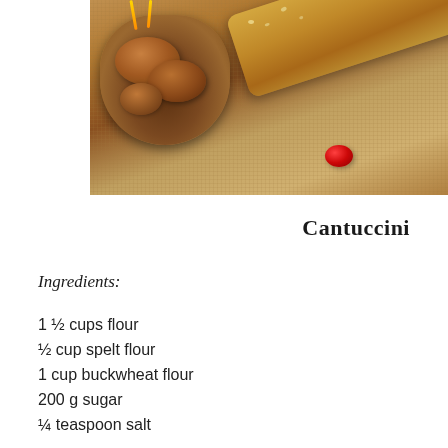[Figure (photo): Photo of walnuts in a basket and biscotti/cantuccini on a burlap surface with a red berry]
Cantuccini
Ingredients:
1 ½ cups flour
½ cup spelt flour
1 cup buckwheat flour
200 g sugar
¼ teaspoon salt
1 teaspoon baking powder
1 teaspoon baking soda
3 eggs
2 tablespoons agave syrup